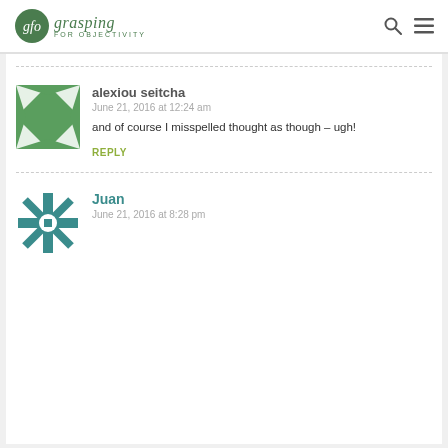gfo grasping FOR OBJECTIVITY
alexiou seitcha
June 21, 2016 at 12:24 am
and of course I misspelled thought as though – ugh!
REPLY
Juan
June 21, 2016 at 8:28 pm